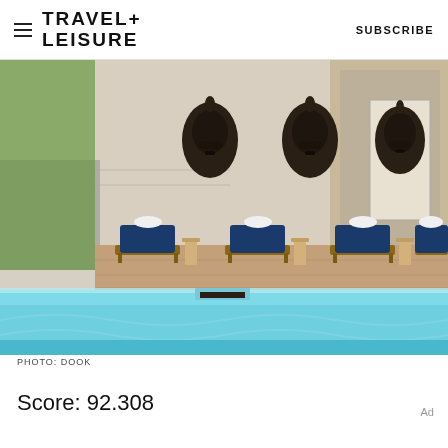TRAVEL+ LEISURE   SUBSCRIBE
[Figure (photo): Luxury hotel pool area with four navy-blue cushioned teak lounge chairs arranged on a wood deck, three decorative dark bronze face masks mounted on a beige stucco wall behind, and a bright turquoise swimming pool in the foreground.]
PHOTO: DOOK
Score: 92.308
Ad